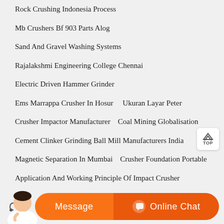Rock Crushing Indonesia Process
Mb Crushers Bf 903 Parts Alog
Sand And Gravel Washing Systems
Rajalakshmi Engineering College Chennai
Electric Driven Hammer Grinder
Ems Marrappa Crusher In Hosur    Ukuran Layar Peter
Crusher Impactor Manufacturer    Coal Mining Globalisation
Cement Clinker Grinding Ball Mill Manufacturers India
Magnetic Separation In Mumbai    Crusher Foundation Portable
Application And Working Principle Of Impact Crusher
Raymond Mill At Power Plants In India Raymond Mill At Power Plants In India
Hsm Proffesional Seperator Gold Processing Plant Shaker Table